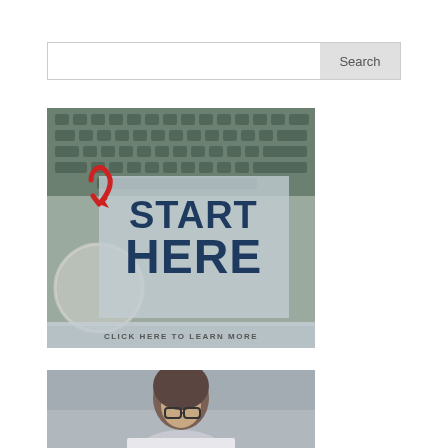[Figure (screenshot): Search bar with text input field and Search button on the right]
[Figure (infographic): Banner image showing a laptop keyboard background with a semi-transparent overlay panel displaying 'START HERE' in dark navy bold text, a red curved arrow pointing to the text, a coffee cup circle in the lower left, and a bottom bar reading 'CLICK HERE TO LEARN MORE']
[Figure (photo): Partial photo of a woman with glasses sitting at a desk with a keyboard visible, cropped at the bottom of the page]